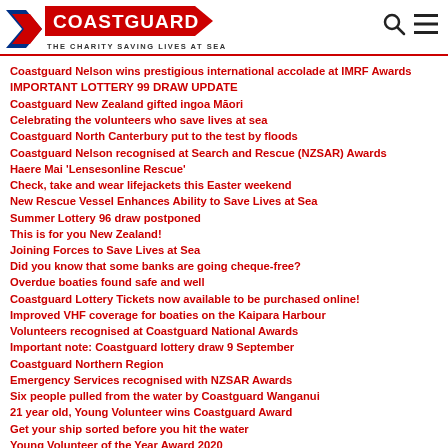COASTGUARD — THE CHARITY SAVING LIVES AT SEA
Coastguard Nelson wins prestigious international accolade at IMRF Awards
IMPORTANT LOTTERY 99 DRAW UPDATE
Coastguard New Zealand gifted ingoa Māori
Celebrating the volunteers who save lives at sea
Coastguard North Canterbury put to the test by floods
Coastguard Nelson recognised at Search and Rescue (NZSAR) Awards
Haere Mai 'Lensesonline Rescue'
Check, take and wear lifejackets this Easter weekend
New Rescue Vessel Enhances Ability to Save Lives at Sea
Summer Lottery 96 draw postponed
This is for you New Zealand!
Joining Forces to Save Lives at Sea
Did you know that some banks are going cheque-free?
Overdue boaties found safe and well
Coastguard Lottery Tickets now available to be purchased online!
Improved VHF coverage for boaties on the Kaipara Harbour
Volunteers recognised at Coastguard National Awards
Important note: Coastguard lottery draw 9 September
Coastguard Northern Region
Emergency Services recognised with NZSAR Awards
Six people pulled from the water by Coastguard Wanganui
21 year old, Young Volunteer wins Coastguard Award
Get your ship sorted before you hit the water
Young Volunteer of the Year Award 2020
Coastguard appeals for people not to go out on the water